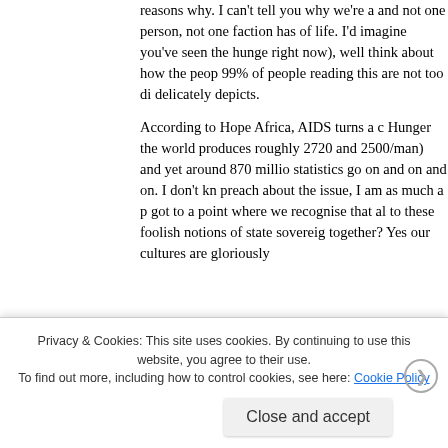reasons why. I can't tell you why we're a and not one person, not one faction has of life. I'd imagine you've seen the hunge right now), well think about how the peop 99% of people reading this are not too di delicately depicts.
According to Hope Africa, AIDS turns a c Hunger the world produces roughly 2720 and 2500/man) and yet around 870 millio statistics go on and on and on. I don't kn preach about the issue, I am as much a p got to a point where we recognise that al to these foolish notions of state sovereig together? Yes our cultures are gloriously
Privacy & Cookies: This site uses cookies. By continuing to use this website, you agree to their use. To find out more, including how to control cookies, see here: Cookie Policy
Close and accept